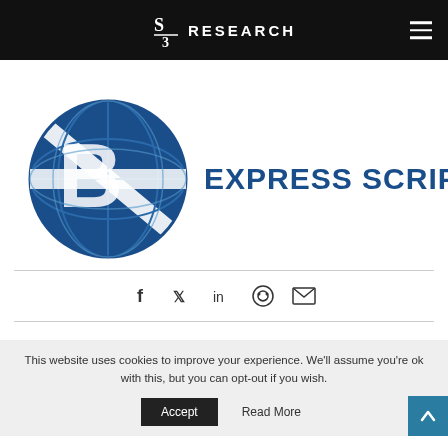S3 RESEARCH
[Figure (logo): Express Scripts logo: blue circular globe icon on left, and 'EXPRESS SCRIPTS®' text in bold dark blue on right]
[Figure (infographic): Social share icons: Facebook, Twitter, LinkedIn, Reddit, Email]
This website uses cookies to improve your experience. We'll assume you're ok with this, but you can opt-out if you wish.
Accept   Read More